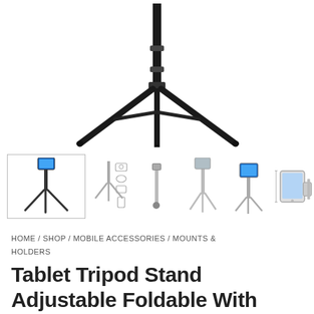[Figure (photo): Main product photo of a black metal tripod stand on white background, top portion cropped, showing the three legs spread out and the central pole]
[Figure (photo): Row of product thumbnail images: first thumbnail (selected/bordered) shows full tripod with tablet mounted; subsequent smaller thumbnails show product diagrams, different use cases, an iPad mounted on tripod, and a lit display on tripod]
HOME / SHOP / MOBILE ACCESSORIES / MOUNTS & HOLDERS
Tablet Tripod Stand Adjustable Foldable With 360 Rotation Holder F...